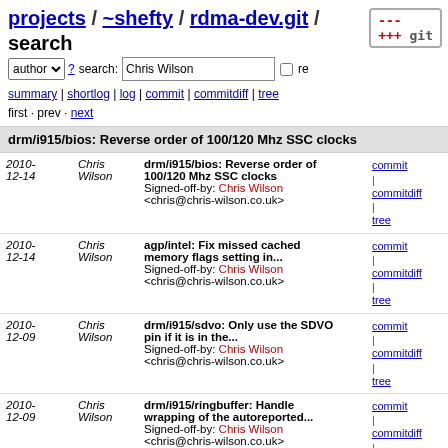projects / ~shefty / rdma-dev.git / search
author ? search: Chris Wilson re
summary | shortlog | log | commit | commitdiff | tree
first · prev · next
drm/i915/bios: Reverse order of 100/120 Mhz SSC clocks
| Date | Author | Message | Links |
| --- | --- | --- | --- |
| 2010-12-14 | Chris Wilson | drm/i915/bios: Reverse order of 100/120 Mhz SSC clocks
Signed-off-by: Chris Wilson <chris@chris-wilson.co.uk> | commit | commitdiff | tree |
| 2010-12-14 | Chris Wilson | agp/intel: Fix missed cached memory flags setting in...
Signed-off-by: Chris Wilson <chris@chris-wilson.co.uk> | commit | commitdiff | tree |
| 2010-12-09 | Chris Wilson | drm/i915/sdvo: Only use the SDVO pin if it is in the...
Signed-off-by: Chris Wilson <chris@chris-wilson.co.uk> | commit | commitdiff | tree |
| 2010-12-09 | Chris Wilson | drm/i915/ringbuffer: Handle wrapping of the autoreported...
Signed-off-by: Chris Wilson <chris@chris-wilson.co.uk> | commit | commitdiff | tree |
| 2010-12-07 | Chris Wilson | drm: Don't try and disable an encoder that was never...
Signed-off-by: Chris Wilson | commit | commitdiff | tree |